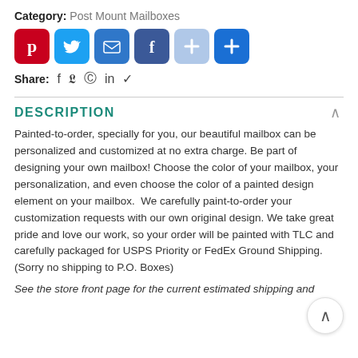Category: Post Mount Mailboxes
[Figure (infographic): Row of social sharing buttons: Pinterest (red), Twitter (blue bird), Email (blue envelope), Facebook (blue f), plus-light (light blue), plus-dark (blue). Below: Share label with social icon links: Facebook, Twitter, Pinterest, LinkedIn, Telegram.]
DESCRIPTION
Painted-to-order, specially for you, our beautiful mailbox can be personalized and customized at no extra charge. Be part of designing your own mailbox! Choose the color of your mailbox, your personalization, and even choose the color of a painted design element on your mailbox.  We carefully paint-to-order your customization requests with our own original design. We take great pride and love our work, so your order will be painted with TLC and carefully packaged for USPS Priority or FedEx Ground Shipping. (Sorry no shipping to P.O. Boxes)
See the store front page for the current estimated shipping and